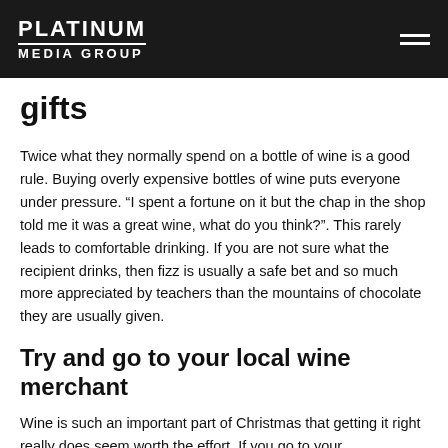PLATINUM MEDIA GROUP
gifts
Twice what they normally spend on a bottle of wine is a good rule. Buying overly expensive bottles of wine puts everyone under pressure. “I spent a fortune on it but the chap in the shop told me it was a great wine, what do you think?”. This rarely leads to comfortable drinking. If you are not sure what the recipient drinks, then fizz is usually a safe bet and so much more appreciated by teachers than the mountains of chocolate they are usually given.
Try and go to your local wine merchant
Wine is such an important part of Christmas that getting it right really does seem worth the effort. If you go to your